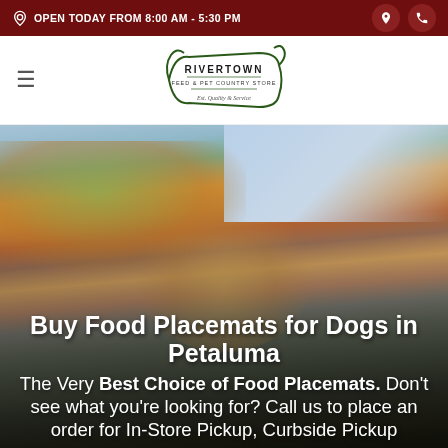OPEN TODAY FROM 8:00 AM - 5:30 PM
[Figure (logo): Rivertown Feed & Pet Country Store logo — decorative ribbon/scroll style with ornate lettering]
Buy Food Placemats for Dogs in Petaluma
The Very Best Choice of Food Placemats. Don't see what you're looking for? Call us to place an order for In-Store Pickup, Curbside Pickup